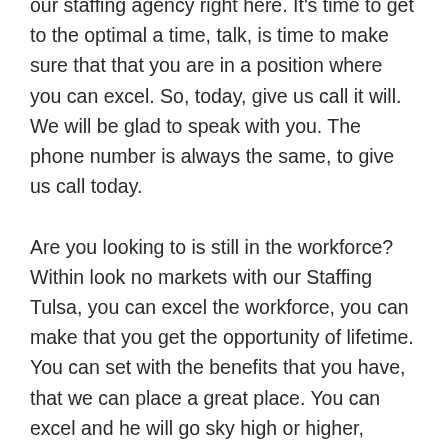our staffing agency right here. It's time to get to the optimal a time, talk, is time to make sure that that you are in a position where you can excel. So, today, give us call it will. We will be glad to speak with you. The phone number is always the same, to give us call today.
Are you looking to is still in the workforce? Within look no markets with our Staffing Tulsa, you can excel the workforce, you can make that you get the opportunity of lifetime. You can set with the benefits that you have, that we can place a great place. You can excel and he will go sky high or higher,